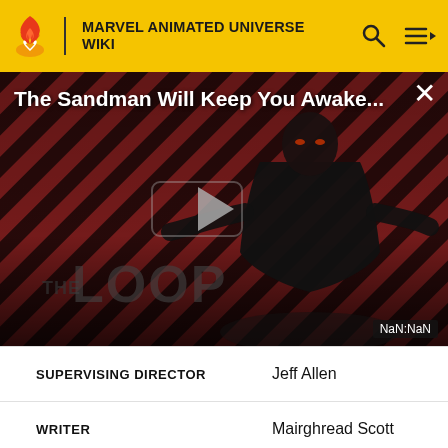MARVEL ANIMATED UNIVERSE WIKI
[Figure (screenshot): Video thumbnail for 'The Sandman Will Keep You Awake...' showing a dark figure against diagonal red and black striped background with 'THE LOOP' watermark and a play button overlay. Timestamp shows NaN:NaN.]
| SUPERVISING DIRECTOR | Jeff Allen |
| WRITER | Mairghread Scott |
| DIRECTOR | Phil Pignotti |